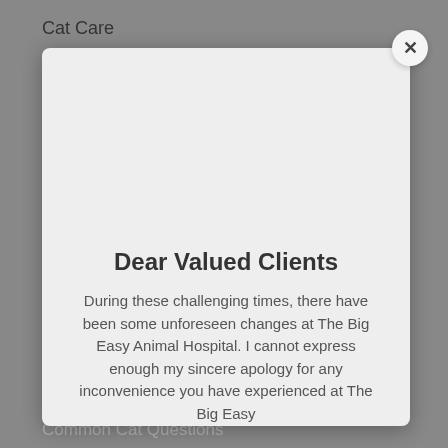Cat Care
Cat Diseases
Cat Procedures
Cat Symptoms
Cat Tests
Cat Travel
Cat Wellness
Common Cat Questions
Common D...
Dise...
Dog...
Dog Babador Brah...
Dog Care
[Figure (screenshot): Modal dialog popup with close button (×), title 'Dear Valued Clients', and body text about changes at The Big Easy Animal Hospital]
Dear Valued Clients
During these challenging times, there have been some unforeseen changes at The Big Easy Animal Hospital. I cannot express enough my sincere apology for any inconvenience you have experienced at The Big Easy